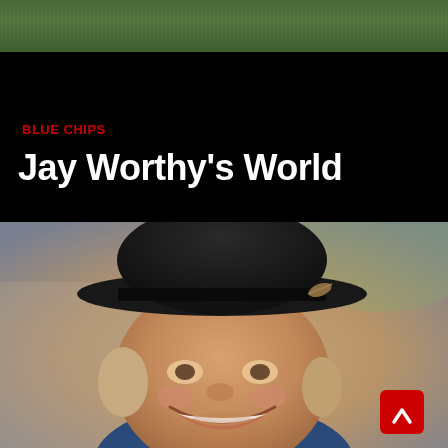[Figure (photo): Green grass outdoor scene at top of page, narrow strip]
BLUE CHIPS
Jay Worthy's World
[Figure (photo): Smiling man wearing a dark felt fedora/bowler hat with a feather accent and black band, photographed outdoors. He has light brown/grey hair visible under the hat and is wearing a blue shirt. He is smiling broadly. Background is blurred outdoor scene.]